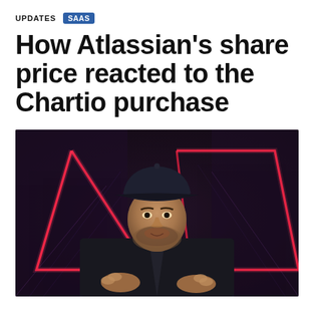UPDATES  SAAS
How Atlassian's share price reacted to the Chartio purchase
[Figure (photo): A man wearing a dark baseball cap and dark hoodie speaking on stage in front of a red neon geometric triangle/diamond shape on a dark background]